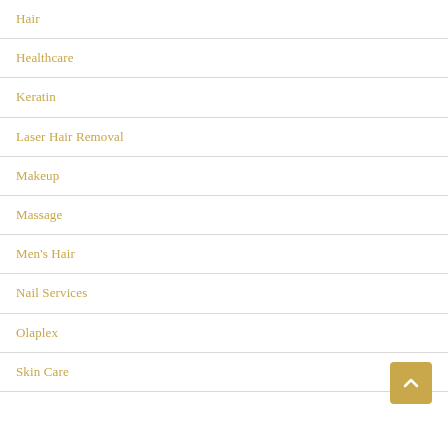Hair
Healthcare
Keratin
Laser Hair Removal
Makeup
Massage
Men's Hair
Nail Services
Olaplex
Skin Care